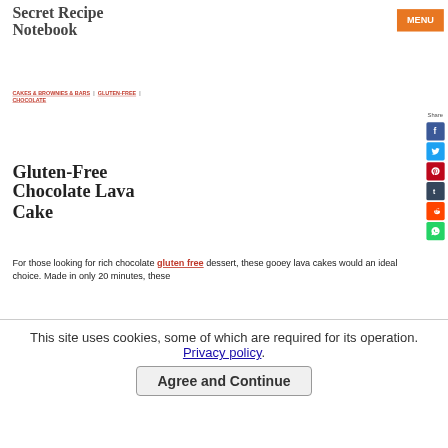Secret Recipe Notebook
MENU
CAKES & BROWNIES & BARS | GLUTEN-FREE | CHOCOLATE
Share
Gluten-Free Chocolate Lava Cake
For those looking for rich chocolate gluten free dessert, these gooey lava cakes would an ideal choice. Made in only 20 minutes, these
This site uses cookies, some of which are required for its operation. Privacy policy. Agree and Continue